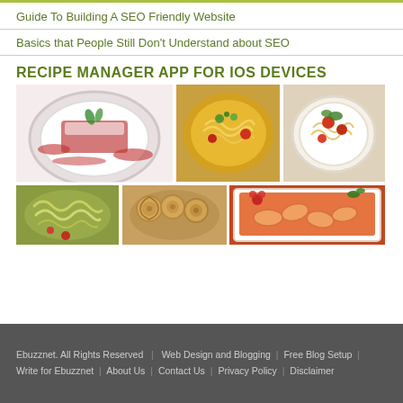Guide To Building A SEO Friendly Website
Basics that People Still Don't Understand about SEO
RECIPE MANAGER APP FOR IOS DEVICES
[Figure (photo): Collage of six food photos: a red berry dessert on white plate, pasta with greens in orange bowl, pasta with tomatoes in white bowl, sliced eggplant/zucchini dish, bread roll-ups, shrimp/seafood in sauce on white plate]
Ebuzznet. All Rights Reserved  |  Web Design and Blogging  |  Free Blog Setup  |  Write for Ebuzznet  |  About Us  |  Contact Us  |  Privacy Policy  |  Disclaimer